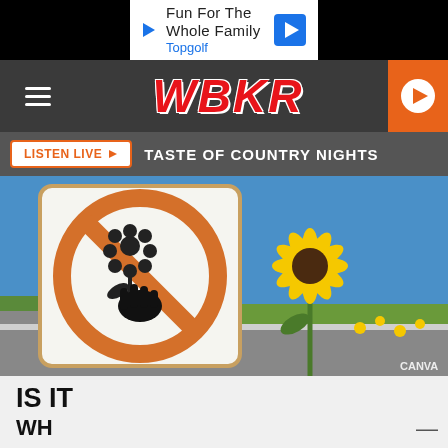[Figure (screenshot): Advertisement banner: Fun For The Whole Family - Topgolf]
[Figure (logo): WBKR radio station navigation bar with hamburger menu and play button]
LISTEN LIVE ▶   TASTE OF COUNTRY NIGHTS
[Figure (photo): Composite image: left side shows a no-picking-flowers prohibition sign (orange circle with diagonal slash over hand picking flower), right side shows a sunflower growing from a road crack under a blue sky. CANVA watermark in bottom right.]
IS IT
WH